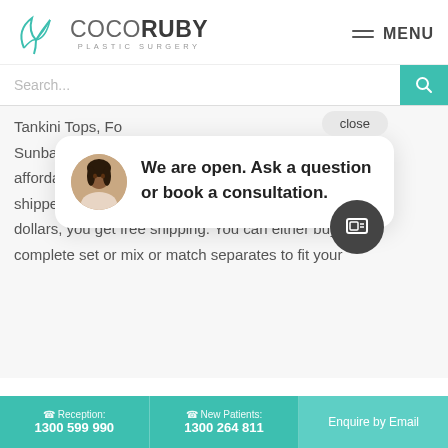[Figure (logo): CocoRuby Plastic Surgery logo with teal leaf icon and text]
MENU
Search...
close
Tankini Tops, Fo... Sunbabe. The p... affordable as we... shipped to your... dollars, you get free shipping. You can either buy a complete set or mix or match separates to fit your
[Figure (screenshot): Chat popup with avatar photo: We are open. Ask a question or book a consultation.]
See this amazing Balconette bikini top. It enhances the cleavage beautifully while still offering enough support to
Reception: 1300 599 990
New Patients: 1300 264 811
Enquire by Email